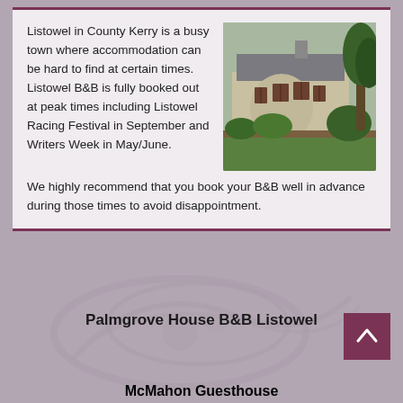Listowel in County Kerry is a busy town where accommodation can be hard to find at certain times. Listowel B&B is fully booked out at peak times including Listowel Racing Festival in September and Writers Week in May/June.
We highly recommend that you book your B&B well in advance during those times to avoid disappointment.
[Figure (photo): Exterior photo of a B&B guesthouse building with large bay windows, stone/render facade, and landscaped garden with shrubs and lawn.]
Palmgrove House B&B Listowel
[Figure (illustration): Faint watermark-style decorative background graphic in the lower portion of the page.]
McMahon Guesthouse